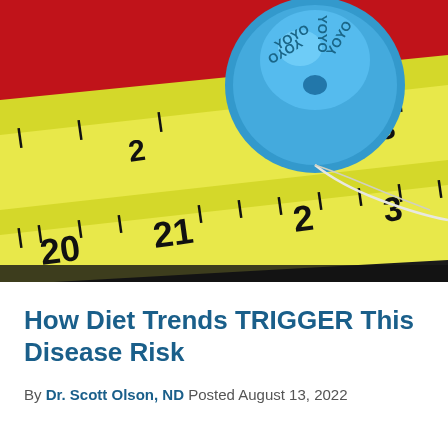[Figure (photo): A blue YoYo retractable tape measure resting on a yellow measuring tape showing measurements 20, 21, 22, 23, with a white string visible. The background is red and dark/black surface.]
How Diet Trends TRIGGER This Disease Risk
By Dr. Scott Olson, ND Posted August 13, 2022